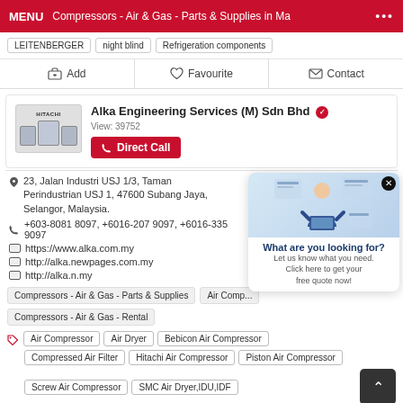MENU | Compressors - Air & Gas - Parts & Supplies in Ma... •••
LEITENBERGER | night blind | Refrigeration components
Add | Favourite | Contact
Alka Engineering Services (M) Sdn Bhd ✓
View: 39752
Direct Call
23, Jalan Industri USJ 1/3, Taman Perindustrian USJ 1, 47600 Subang Jaya, Selangor, Malaysia.
+603-8081 8097, +6016-207 9097, +6016-335 9097
https://www.alka.com.my
http://alka.newpages.com.my
http://alka.n.my
Compressors - Air & Gas - Parts & Supplies | Air Comp...
Compressors - Air & Gas - Rental
What are you looking for? Let us know what you need. Click here to get your free quote now!
Air Compressor
Air Dryer
Bebicon Air Compressor
Compressed Air Filter
Hitachi Air Compressor
Piston Air Compressor
Screw Air Compressor
SMC Air Dryer,IDU,IDF